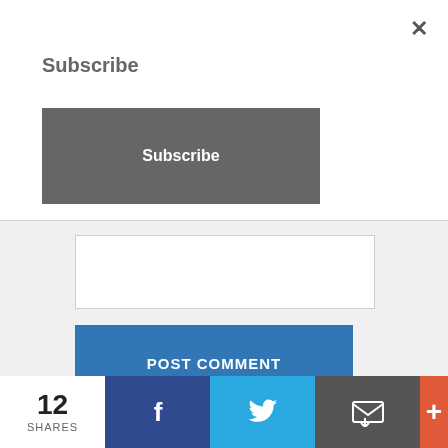×
Subscribe
Subscribe
[Figure (screenshot): White text input box for comment entry]
POST COMMENT
Privacy & Cookies: This site uses cookies. By continuing to use this website, you agree to their use.
To find out more, including how to control cookies, see here: Cookie Policy
12 SHARES
[Figure (infographic): Social share bar with Facebook, Twitter, Email, and More (+) buttons]